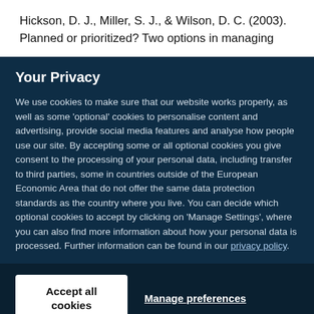Hickson, D. J., Miller, S. J., & Wilson, D. C. (2003). Planned or prioritized? Two options in managing
Your Privacy
We use cookies to make sure that our website works properly, as well as some 'optional' cookies to personalise content and advertising, provide social media features and analyse how people use our site. By accepting some or all optional cookies you give consent to the processing of your personal data, including transfer to third parties, some in countries outside of the European Economic Area that do not offer the same data protection standards as the country where you live. You can decide which optional cookies to accept by clicking on 'Manage Settings', where you can also find more information about how your personal data is processed. Further information can be found in our privacy policy.
Accept all cookies
Manage preferences